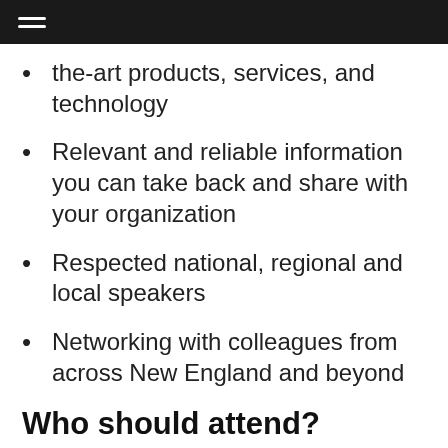the-art products, services, and technology
Relevant and reliable information you can take back and share with your organization
Respected national, regional and local speakers
Networking with colleagues from across New England and beyond
Who should attend?
First Responders, Emergency Medical Technicians, Advanced EMTs and Paramedics
EMS Managers, Fire Chiefs, Administrators, and Supervisors